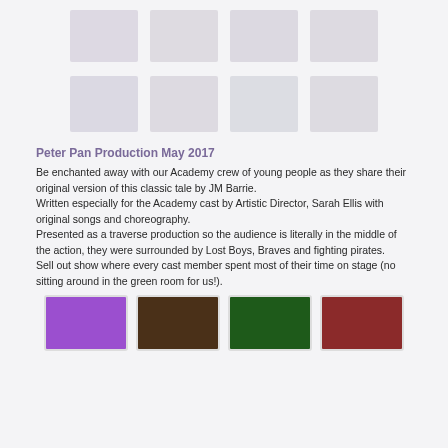[Figure (photo): Row of 4 faded thumbnail photos from a stage production]
[Figure (photo): Second row of 4 faded thumbnail photos from a stage production]
Peter Pan Production May 2017
Be enchanted away with our Academy crew of young people as they share their original version of this classic tale by JM Barrie.
Written especially for the Academy cast by Artistic Director, Sarah Ellis with original songs and choreography.
Presented as a traverse production so the audience is literally in the middle of the action, they were surrounded by Lost Boys, Braves and fighting pirates.
Sell out show where every cast member spent most of their time on stage (no sitting around in the green room for us!).
[Figure (photo): Row of 4 colorful bottom thumbnail photos from the Peter Pan production]